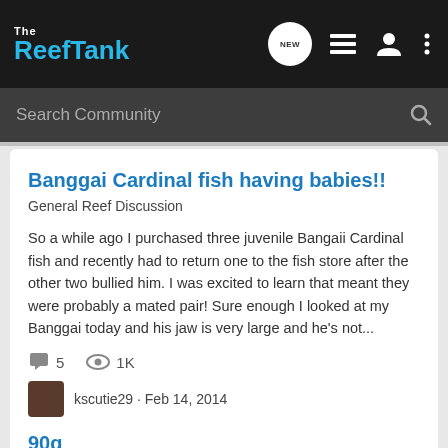The Reef Tank
Search Community
Banggai Cardinal fish having babies!!
General Reef Discussion
So a while ago I purchased three juvenile Bangaii Cardinal fish and recently had to return one to the fish store after the other two bullied him. I was excited to learn that meant they were probably a mated pair! Sure enough I looked at my Banggai today and his jaw is very large and he's not...
5 comments · 1K views
kscutie29 · Feb 14, 2014
banggai
banggai cardinal
banggai eggs
breeding
cardinal
90g